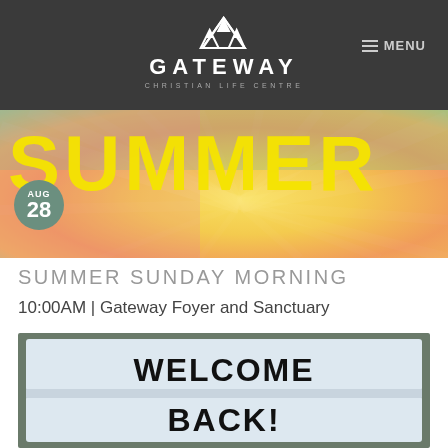GATEWAY CHRISTIAN LIFE CENTRE — MENU
[Figure (photo): Colorful summer banner with radiant sunburst design in pink, green, yellow — partially cropped text 'SUMMER' visible. Date badge showing AUG 28.]
SUMMER SUNDAY MORNING
10:00AM | Gateway Foyer and Sanctuary
[Figure (photo): Photo of a light-box sign reading 'WELCOME BACK!' in bold black capital letters on white background.]